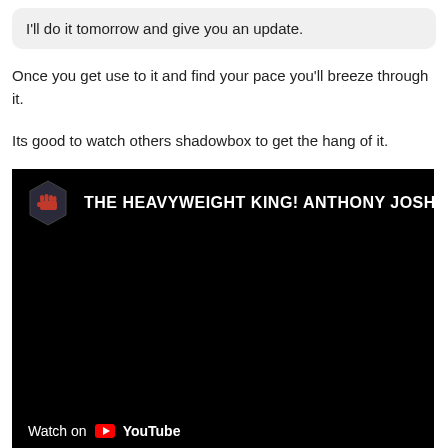I'll do it tomorrow and give you an update.
Once you get use to it and find your pace you'll breeze through it.
Its good to watch others shadowbox to get the hang of it.
[Figure (screenshot): YouTube video thumbnail screenshot showing a video titled 'THE HEAVYWEIGHT KING! ANTHONY JOSHU...' with a channel icon featuring a red fist logo. The video player has a black background with a Watch on YouTube overlay at the bottom left.]